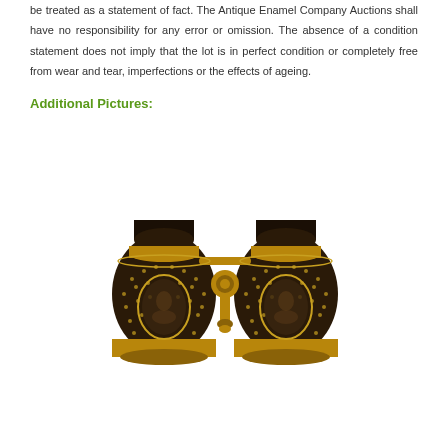be treated as a statement of fact. The Antique Enamel Company Auctions shall have no responsibility for any error or omission. The absence of a condition statement does not imply that the lot is in perfect condition or completely free from wear and tear, imperfections or the effects of ageing.
Additional Pictures:
[Figure (photo): Antique opera glasses / binoculars with dark brown enamel body decorated with gold dot pattern and oval medallion portraits, gold-colored brass fittings, adjustable central wheel mechanism, viewed from front.]